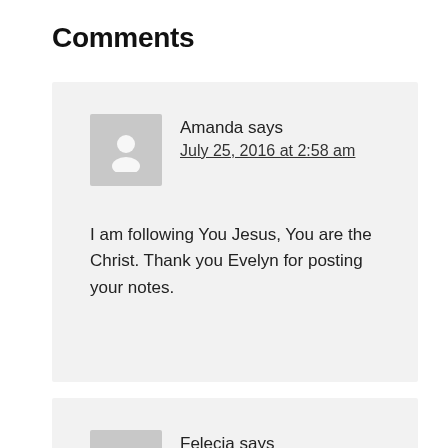Comments
Amanda says
July 25, 2016 at 2:58 am
I am following You Jesus, You are the Christ. Thank you Evelyn for posting your notes.
Felecia says
July 25, 2016 at 7:36 am